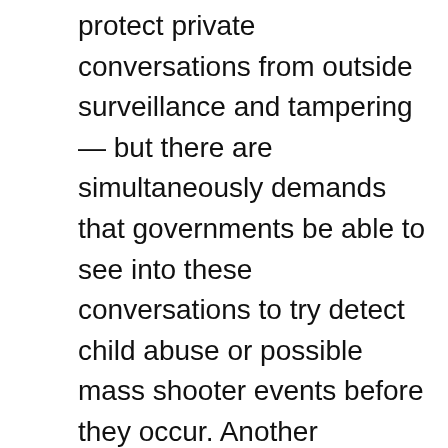protect private conversations from outside surveillance and tampering — but there are simultaneously demands that governments be able to see into these conversations to try detect child abuse or possible mass shooter events before they occur. Another enormous category of conflicting demands will arise as the U.S. Supreme Court drastically scales back fundamental protections for women.
Even if encryption were banned (a ban that we know would never be anywhere near 100% effective), the sheer scale of the Internet in general, and of social media in